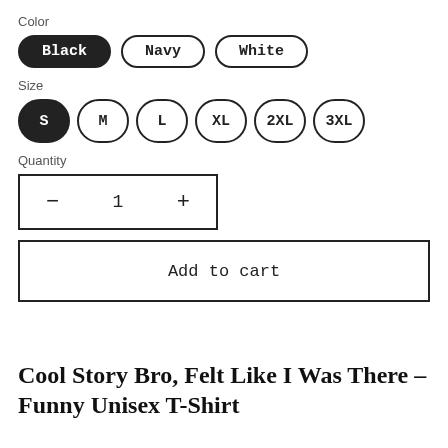Color
Black (selected), Navy, White
Size
S (selected), M, L, XL, 2XL, 3XL
Quantity
- 1 +
Add to cart
Cool Story Bro, Felt Like I Was There - Funny Unisex T-Shirt